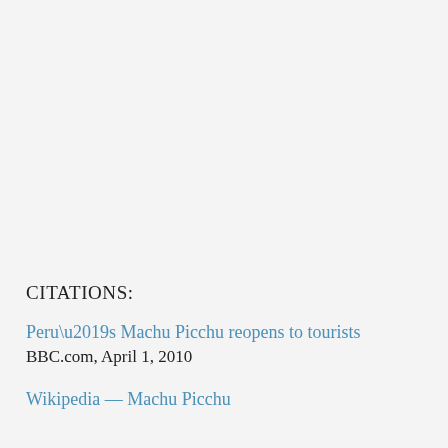CITATIONS:
Peru’s Machu Picchu reopens to tourists
BBC.com, April 1, 2010
Wikipedia — Machu Picchu